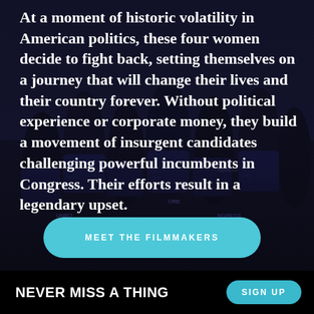[Figure (photo): Dark background photo of a group of people at a political rally, wearing dark t-shirts with text partially visible (UNBRO, CONGRESS, ORE, etc.). The image is largely obscured by a dark overlay.]
At a moment of historic volatility in American politics, these four women decide to fight back, setting themselves on a journey that will change their lives and their country forever. Without political experience or corporate money, they build a movement of insurgent candidates challenging powerful incumbents in Congress. Their efforts result in a legendary upset.
MEET THE FILMMAKERS
NEVER MISS A THING
SIGN UP